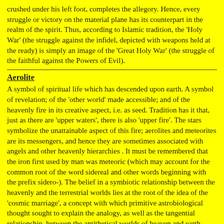crushed under his left foot, completes the allegory. Hence, every struggle or victory on the material plane has its counterpart in the realm of the spirit. Thus, according to Islamic tradition, the 'Holy War' (the struggle against the infidel, depicted with weapons held at the ready) is simply an image of the 'Great Holy War' (the struggle of the faithful against the Powers of Evil).
Aerolite
A symbol of spiritual life which has descended upon earth. A symbol of revelation; of the 'other world' made accessible; and of the heavenly fire in its creative aspect, i.e. as seed. Tradition has it that, just as there are 'upper waters', there is also 'upper fire'. The stars symbolize the unattainable aspect of this fire; aerolites and meteorites are its messengers, and hence they are sometimes associated with angels and other heavenly hierarchies . It must be remembered that the iron first used by man was meteoric (which may account for the common root of the word sidereal and other words beginning with the prefix sidero-). The belief in a symbiotic relationship between the heavenly and the terrestrial worlds lies at the root of the idea of the 'cosmic marriage', a concept with which primitive astrobiological thought sought to explain the analogy, as well as the tangential relationship, between the antithetical worlds of heaven and earth.
Ages,